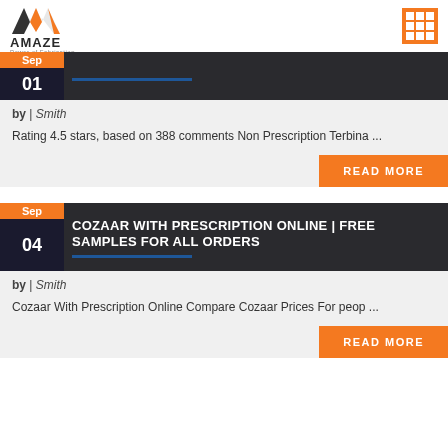AMAZE Power of Fabrication
by | Smith
Rating 4.5 stars, based on 388 comments Non Prescription Terbina ...
READ MORE
COZAAR WITH PRESCRIPTION ONLINE | FREE SAMPLES FOR ALL ORDERS
by | Smith
Cozaar With Prescription Online Compare Cozaar Prices For peop ...
READ MORE